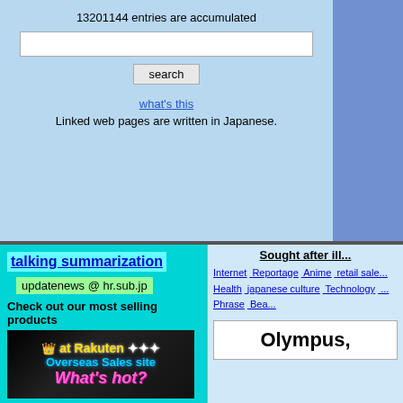13201144 entries are accumulated
search
what's this
Linked web pages are written in Japanese.
talking summarization
updatenews @ hr.sub.jp
Check out our most selling products
[Figure (screenshot): Rakuten Overseas Sales site advertisement banner with 'What's hot?' text]
"Made in Japan" quality brand that is safe and trustable.
Sought after ill...
Internet  Reportage  Anime  retail sale...  Health  japanese culture  Technology  ...  Phrase  Bea...
Olympus,